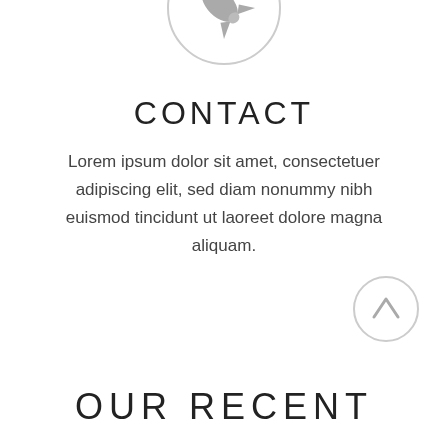[Figure (illustration): Gray rocket icon inside a light gray circle, centered near the top of the page]
CONTACT
Lorem ipsum dolor sit amet, consectetuer adipiscing elit, sed diam nonummy nibh euismod tincidunt ut laoreet dolore magna aliquam.
[Figure (illustration): Up arrow icon inside a light gray circle, positioned at the bottom right]
OUR RECENT